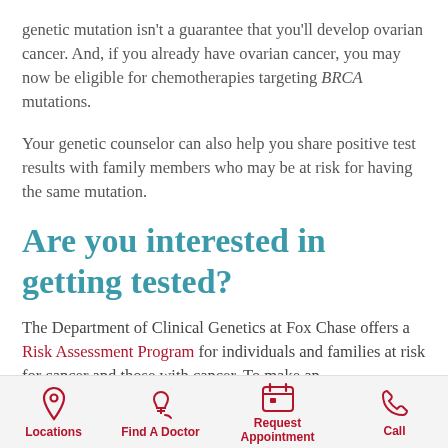genetic mutation isn't a guarantee that you'll develop ovarian cancer. And, if you already have ovarian cancer, you may now be eligible for chemotherapies targeting BRCA mutations.
Your genetic counselor can also help you share positive test results with family members who may be at risk for having the same mutation.
Are you interested in getting tested?
The Department of Clinical Genetics at Fox Chase offers a Risk Assessment Program for individuals and families at risk for cancer and those with cancer. To make an
Locations  Find A Doctor  Request Appointment  Call